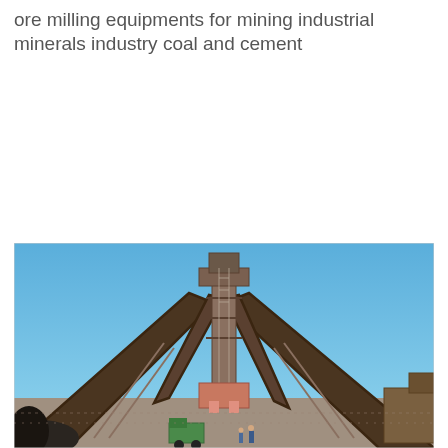ore milling equipments for mining industrial minerals industry coal and cement
[Figure (photo): Outdoor industrial mining facility showing large conveyor belt systems arranged in an X-pattern, supported by a central steel tower structure, under a clear blue sky. Workers and vehicles visible at ground level.]